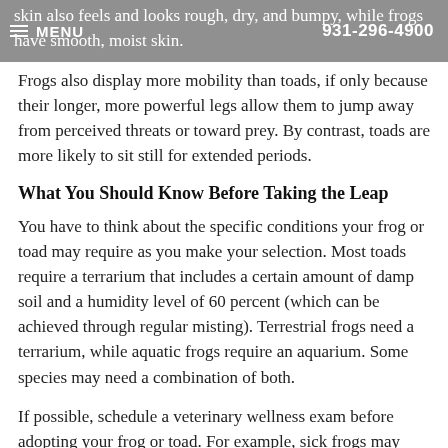MENU  931-296-4900
skin also feels and looks rough, dry, and bumpy, while frogs have smooth, moist skin.
Frogs also display more mobility than toads, if only because their longer, more powerful legs allow them to jump away from perceived threats or toward prey. By contrast, toads are more likely to sit still for extended periods.
What You Should Know Before Taking the Leap
You have to think about the specific conditions your frog or toad may require as you make your selection. Most toads require a terrarium that includes a certain amount of damp soil and a humidity level of 60 percent (which can be achieved through regular misting). Terrestrial frogs need a terrarium, while aquatic frogs require an aquarium. Some species may need a combination of both.
If possible, schedule a veterinary wellness exam before adopting your frog or toad. For example, sick frogs may show signs of a problem known as short tongue syndrome, while sick toads may display breathing problems, lethargy, cloud eyes, and other symptoms.